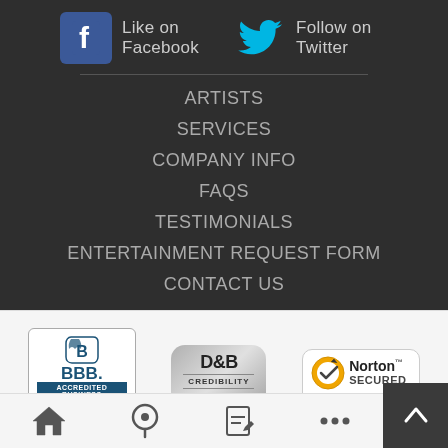Like on Facebook
Follow on Twitter
ARTISTS
SERVICES
COMPANY INFO
FAQS
TESTIMONIALS
ENTERTAINMENT REQUEST FORM
CONTACT US
[Figure (logo): BBB Accredited Business logo - Click for Profile]
[Figure (logo): D&B Credibility Platinum badge]
[Figure (logo): Norton Secured powered by VeriSign badge]
[Figure (other): Back to top button with upward arrow, home icon, location pin icon, edit icon, and more icon at bottom navigation bar]